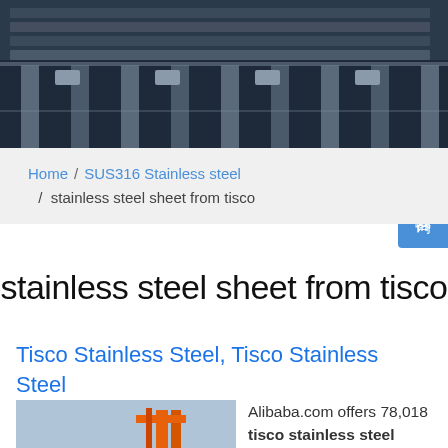[Figure (photo): Stainless steel bars/sheets stacked, dark industrial background]
Home / SUS316 Stainless steel / stainless steel sheet from tisco
stainless steel sheet from tisco
Tisco Stainless Steel, Tisco Stainless Steel Suppliers and ...
[Figure (photo): Stainless steel sheets stacked in a yard with orange crane in background]
Alibaba.com offers 78,018 tisco stainless steel products. About 63% of these are stainless steel sheets, 9% are stainless steel pipes, and 5% are